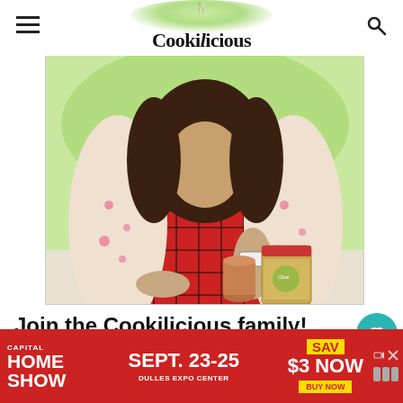Cookilicious
[Figure (photo): Woman wearing red and black plaid apron with floral shirt, holding a decorative tin, seated at a table against a green background]
Join the Cookilicious family!
If you want to be the first person to know when I publish a new recipe
[Figure (photo): WHAT'S NEXT → Bombay Sandwich... thumbnail of food]
[Figure (infographic): Advertisement: CAPITAL HOME SHOW SEPT. 23-25 DULLES EXPO CENTER SAVE $3 NOW BUY NOW]